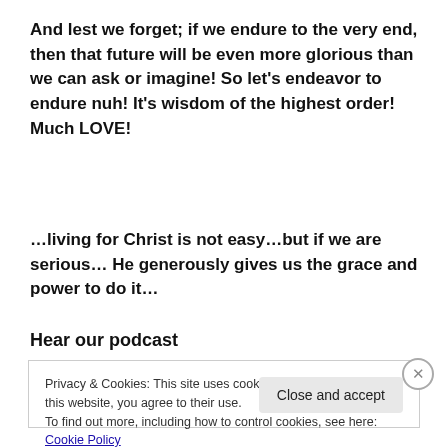And lest we forget; if we endure to the very end, then that future will be even more glorious than we can ask or imagine! So let’s endeavor to endure nuh! It’s wisdom of the highest order! Much LOVE!
…living for Christ is not easy…but if we are serious… He generously gives us the grace and power to do it…
Hear our podcast
Privacy & Cookies: This site uses cookies. By continuing to use this website, you agree to their use.
To find out more, including how to control cookies, see here: Cookie Policy
Close and accept